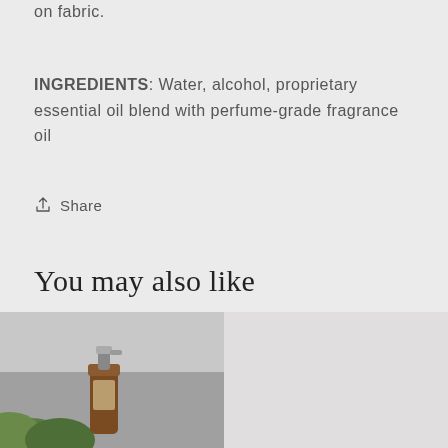on fabric.
INGREDIENTS: Water, alcohol, proprietary essential oil blend with perfume-grade fragrance oil
Share
You may also like
[Figure (photo): Amber glass spray bottle with green plants in foreground on grey background]
[Figure (photo): Partially visible product photo on light grey background]